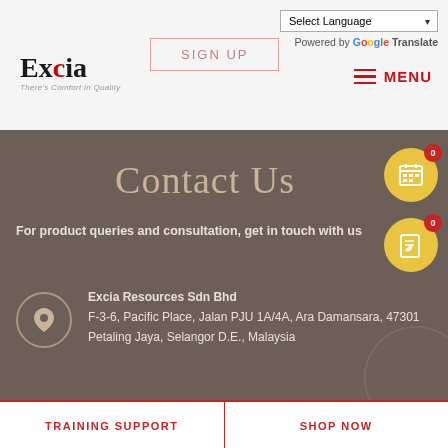[Figure (screenshot): Excia website header with logo, SIGN UP button, language selector, and MENU button]
Contact Us
For product queries and consultation, get in touch with us
Excia Resources Sdn Bhd
F-3-6, Pacific Place, Jalan PJU 1A/4A, Ara Damansara, 47301 Petaling Jaya, Selangor D.E., Malaysia
TRAINING SUPPORT   SHOP NOW